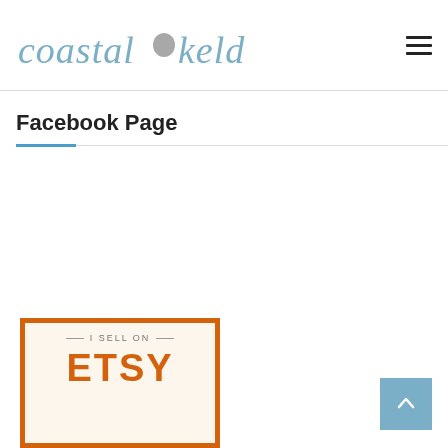coastal kelder
Facebook Page
[Figure (screenshot): Etsy promotional card with orange border showing 'I SELL ON ETSY' text on cream background]
[Figure (other): Scroll-to-top button (blue square with upward chevron arrow)]